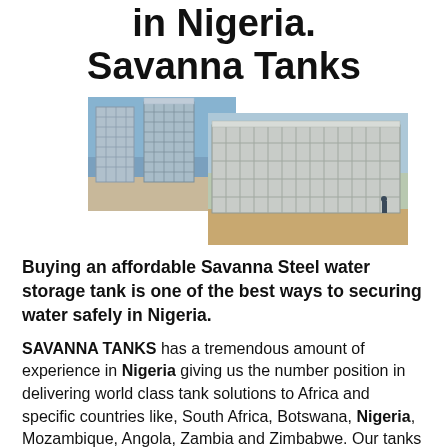in Nigeria. Savanna Tanks
[Figure (photo): Two overlapping photos of large corrugated steel water storage tanks installed outdoors on sandy/industrial sites]
Buying an affordable Savanna Steel water storage tank is one of the best ways to securing water safely in Nigeria.
SAVANNA TANKS has a tremendous amount of experience in Nigeria giving us the number position in delivering world class tank solutions to Africa and specific countries like, South Africa, Botswana, Nigeria, Mozambique, Angola, Zambia and Zimbabwe. Our tanks are designed to